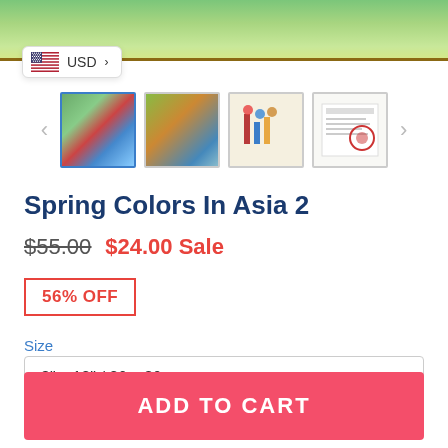[Figure (screenshot): Product page showing colorful garden artwork at top, currency selector badge (USD), thumbnail gallery images, product title, pricing, discount badge, size selector, and add to cart button]
Spring Colors In Asia 2
$55.00  $24.00 Sale
56% OFF
Size
8" x 12" / 20 x 30cm
ADD TO CART